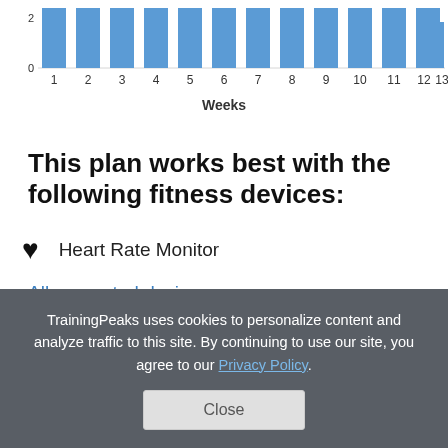[Figure (bar-chart): ]
This plan works best with the following fitness devices:
Heart Rate Monitor
All supported devices
TrainingPeaks uses cookies to personalize content and analyze traffic to this site. By continuing to use our site, you agree to our Privacy Policy.
Close